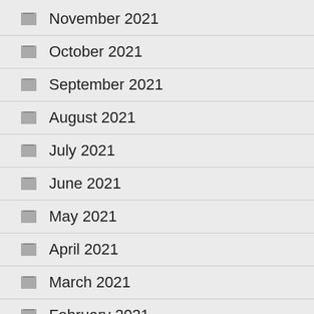November 2021
October 2021
September 2021
August 2021
July 2021
June 2021
May 2021
April 2021
March 2021
February 2021